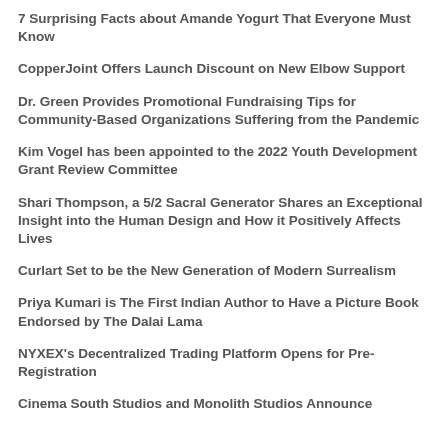7 Surprising Facts about Amande Yogurt That Everyone Must Know
CopperJoint Offers Launch Discount on New Elbow Support
Dr. Green Provides Promotional Fundraising Tips for Community-Based Organizations Suffering from the Pandemic
Kim Vogel has been appointed to the 2022 Youth Development Grant Review Committee
Shari Thompson, a 5/2 Sacral Generator Shares an Exceptional Insight into the Human Design and How it Positively Affects Lives
Curlart Set to be the New Generation of Modern Surrealism
Priya Kumari is The First Indian Author to Have a Picture Book Endorsed by The Dalai Lama
NYXEX's Decentralized Trading Platform Opens for Pre-Registration
Cinema South Studios and Monolith Studios Announce